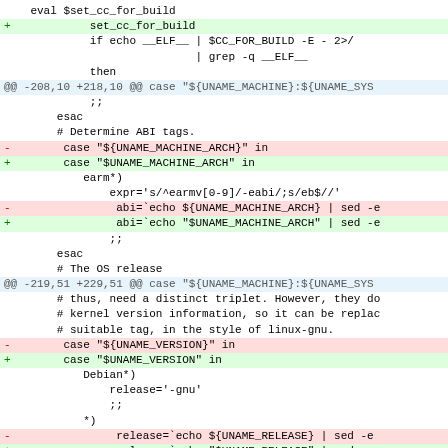Diff/patch code showing changes to a shell script related to UNAME_MACHINE, UNAME_ARCH, UNAME_VERSION variable quoting fixes.